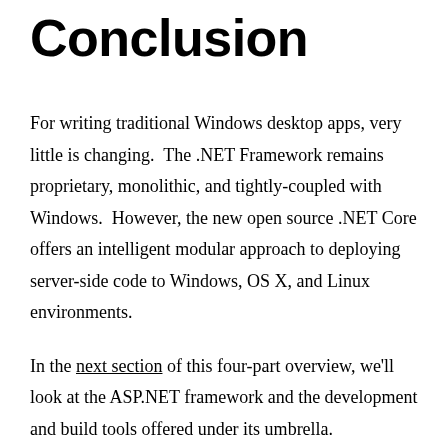Conclusion
For writing traditional Windows desktop apps, very little is changing.  The .NET Framework remains proprietary, monolithic, and tightly-coupled with Windows.  However, the new open source .NET Core offers an intelligent modular approach to deploying server-side code to Windows, OS X, and Linux environments.
In the next section of this four-part overview, we'll look at the ASP.NET framework and the development and build tools offered under its umbrella.